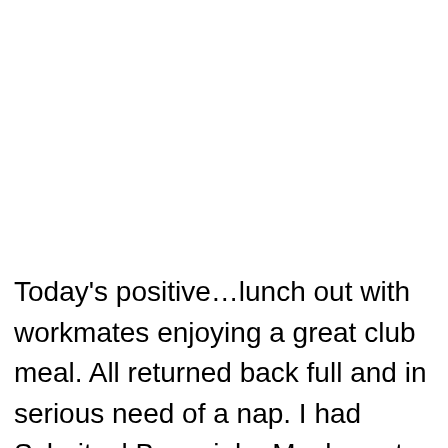Today's positive…lunch out with workmates enjoying a great club meal. All returned back full and in serious need of a nap. I had Schnitzel Boscaiola. Maybe not overly healthy but [tooltip: English] able!
[Figure (screenshot): A dark tooltip/popup bar showing a US flag emoji and the word 'English', partially overlapping the last line of the text.]